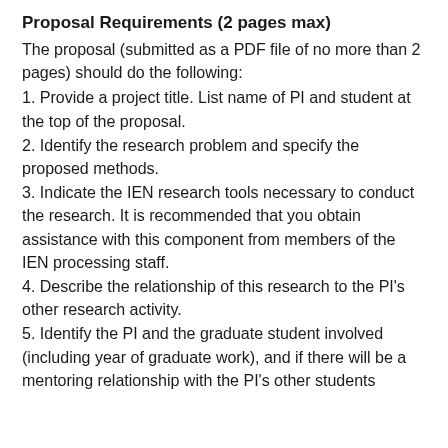Proposal Requirements (2 pages max)
The proposal (submitted as a PDF file of no more than 2 pages) should do the following:
1. Provide a project title. List name of PI and student at the top of the proposal.
2. Identify the research problem and specify the proposed methods.
3. Indicate the IEN research tools necessary to conduct the research. It is recommended that you obtain assistance with this component from members of the IEN processing staff.
4. Describe the relationship of this research to the PI's other research activity.
5. Identify the PI and the graduate student involved (including year of graduate work), and if there will be a mentoring relationship with the PI's other students